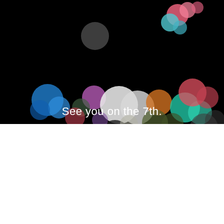[Figure (illustration): Apple iPhone 7 event invitation image. Black background with colorful blurred bokeh circles in pink, blue, teal, white, orange, red, green, purple, and gray tones arranged in a diagonal arc pattern. White text at the bottom reads 'See you on the 7th.']